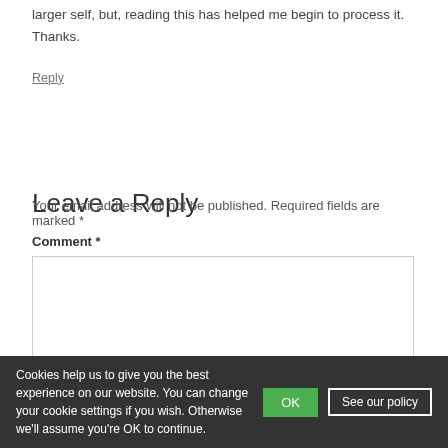larger self, but, reading this has helped me begin to process it. Thanks.
Reply
Leave a Reply
Your email address will not be published. Required fields are marked *
Comment *
Cookies help us to give you the best experience on our website. You can change your cookie settings if you wish. Otherwise we'll assume you're OK to continue.